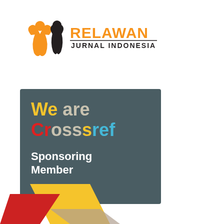[Figure (logo): Relawan Jurnal Indonesia logo with orange figure icon and black text reading RELAWAN JURNAL INDONESIA]
[Figure (logo): We are Crossref Sponsoring Member badge on dark teal/grey background. 'We' in yellow, 'are' in grey/beige, 'Cr' in red, 'oss' in grey, 's' in yellow, 'ref' in blue. Below: 'Sponsoring Member' in white bold text.]
[Figure (logo): Partial logo visible at bottom of page with yellow and red geometric shapes]